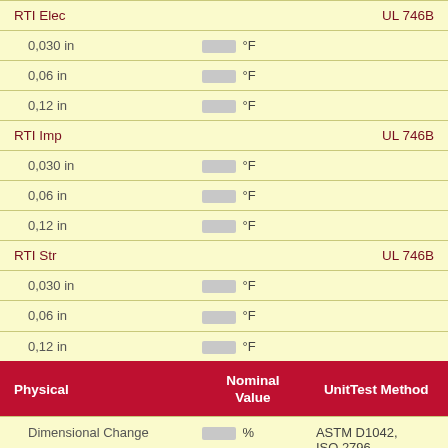| Property | Nominal Value | Unit | Test Method |
| --- | --- | --- | --- |
| RTI Elec |  |  | UL 746B |
| 0,030 in | [redacted] | °F |  |
| 0,06 in | [redacted] | °F |  |
| 0,12 in | [redacted] | °F |  |
| RTI Imp |  |  | UL 746B |
| 0,030 in | [redacted] | °F |  |
| 0,06 in | [redacted] | °F |  |
| 0,12 in | [redacted] | °F |  |
| RTI Str |  |  | UL 746B |
| 0,030 in | [redacted] | °F |  |
| 0,06 in | [redacted] | °F |  |
| 0,12 in | [redacted] | °F |  |
| Physical | Nominal Value | Unit | Test Method |
| Dimensional Change | [redacted] | % | ASTM D1042, ISO 2796 |